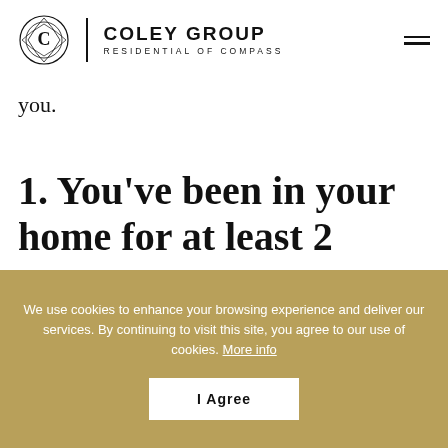COLEY GROUP RESIDENTIAL OF COMPASS
you.
1. You've been in your home for at least 2 years
Unless you're a home flipper, real estate is a long-term investment. Since homes aren't liquid assets
We use cookies to enhance your browsing experience and deliver our services. By continuing to visit this site, you agree to our use of cookies. More info
I Agree